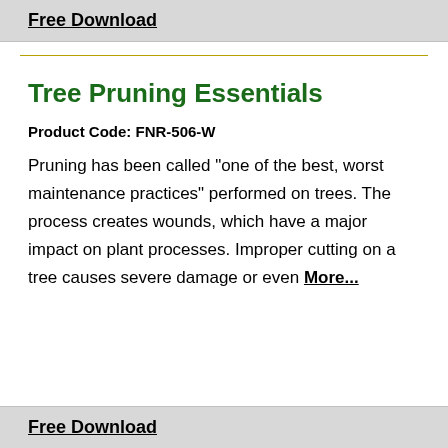Free Download
Tree Pruning Essentials
Product Code: FNR-506-W
Pruning has been called "one of the best, worst maintenance practices" performed on trees. The process creates wounds, which have a major impact on plant processes. Improper cutting on a tree causes severe damage or even  More...
Free Download